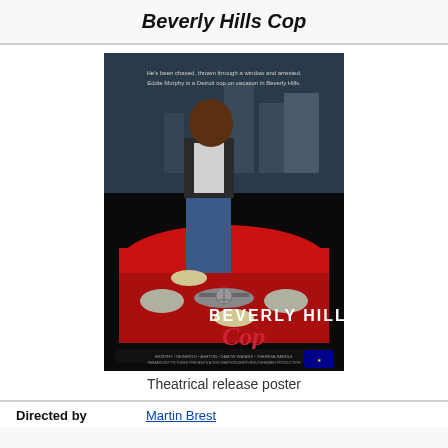Beverly Hills Cop
[Figure (photo): Theatrical release poster for Beverly Hills Cop (1984), showing Eddie Murphy sitting on the hood of a red car with the film title displayed prominently]
Theatrical release poster
Directed by   Martin Brest